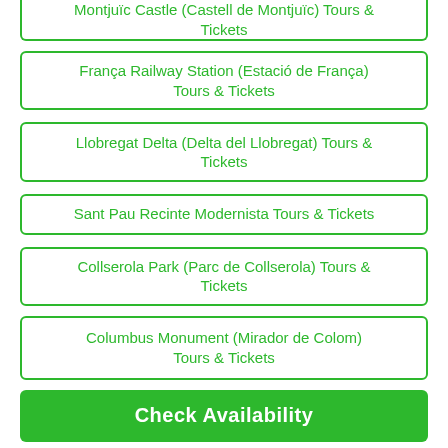Montjuïc Castle (Castell de Montjuïc) Tours & Tickets
França Railway Station (Estació de França) Tours & Tickets
Llobregat Delta (Delta del Llobregat) Tours & Tickets
Sant Pau Recinte Modernista Tours & Tickets
Collserola Park (Parc de Collserola) Tours & Tickets
Columbus Monument (Mirador de Colom) Tours & Tickets
Check Availability